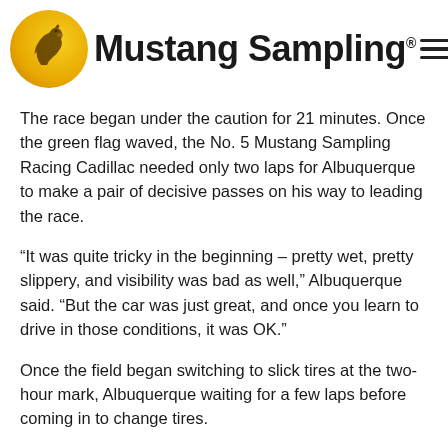[Figure (logo): Mustang Sampling logo with yellow circle containing horse head illustration and bold text 'Mustang Sampling' with registered trademark symbol]
The race began under the caution for 21 minutes. Once the green flag waved, the No. 5 Mustang Sampling Racing Cadillac needed only two laps for Albuquerque to make a pair of decisive passes on his way to leading the race.
“It was quite tricky in the beginning – pretty wet, pretty slippery, and visibility was bad as well,” Albuquerque said. “But the car was just great, and once you learn to drive in those conditions, it was OK.”
Once the field began switching to slick tires at the two-hour mark, Albuquerque waiting for a few laps before coming in to change tires.